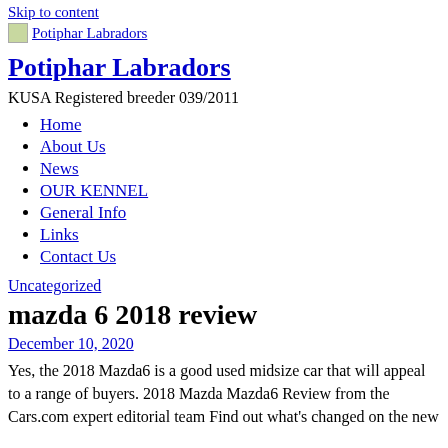Skip to content
[Figure (logo): Potiphar Labradors logo image with site name link]
Potiphar Labradors
KUSA Registered breeder 039/2011
Home
About Us
News
OUR KENNEL
General Info
Links
Contact Us
Uncategorized
mazda 6 2018 review
December 10, 2020
Yes, the 2018 Mazda6 is a good used midsize car that will appeal to a range of buyers. 2018 Mazda Mazda6 Review from the Cars.com expert editorial team Find out what's changed on the new